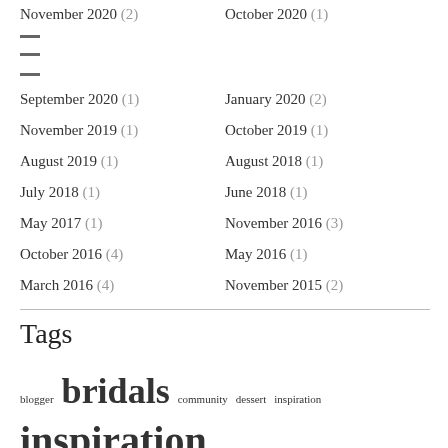November 2020 (2)
October 2020 (1)
September 2020 (1)
January 2020 (2)
November 2019 (1)
October 2019 (1)
August 2019 (1)
August 2018 (1)
July 2018 (1)
June 2018 (1)
May 2017 (1)
November 2016 (3)
October 2016 (4)
May 2016 (1)
March 2016 (4)
November 2015 (2)
Tags
blogger bridals community dessert inspiration inspiration